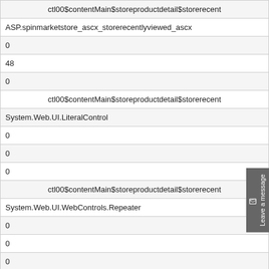| ctl00$contentMain$storeproductdetail$storerecent |
| ASP.spinmarketstore_ascx_storerecentlyviewed_ascx |
| 0 |
| 48 |
| 0 |
| ctl00$contentMain$storeproductdetail$storerecent |
| System.Web.UI.LiteralControl |
| 0 |
| 0 |
| 0 |
| ctl00$contentMain$storeproductdetail$storerecent |
| System.Web.UI.WebControls.Repeater |
| 0 |
| 0 |
| 0 |